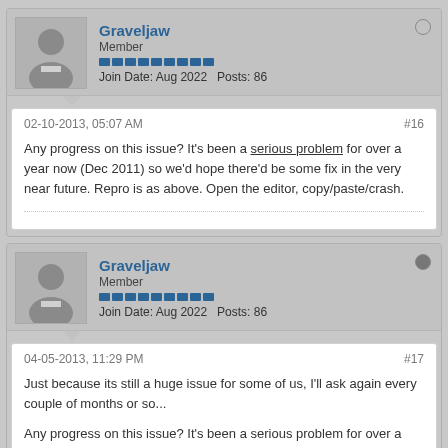Graveljaw
Member
Join Date: Aug 2022   Posts: 86
02-10-2013, 05:07 AM
#16
Any progress on this issue? It's been a serious problem for over a year now (Dec 2011) so we'd hope there'd be some fix in the very near future. Repro is as above. Open the editor, copy/paste/crash.
Graveljaw
Member
Join Date: Aug 2022   Posts: 86
04-05-2013, 11:29 PM
#17
Just because its still a huge issue for some of us, I'll ask again every couple of months or so...
Any progress on this issue? It's been a serious problem for over a year